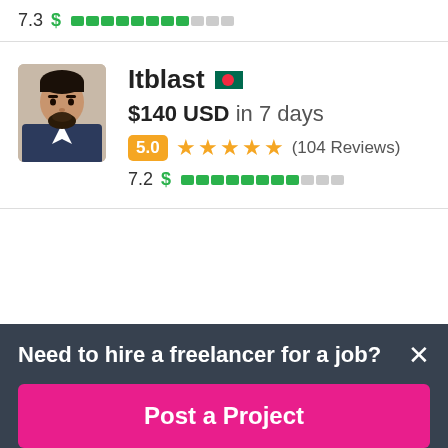7.3 $ ████████░░░
[Figure (photo): Profile photo of freelancer Itblast, a young man with a beard wearing a suit jacket]
Itblast 🇧🇩
$140 USD in 7 days
5.0 ★★★★★ (104 Reviews)
7.2 $ ████████░░░
Need to hire a freelancer for a job?
Post a Project